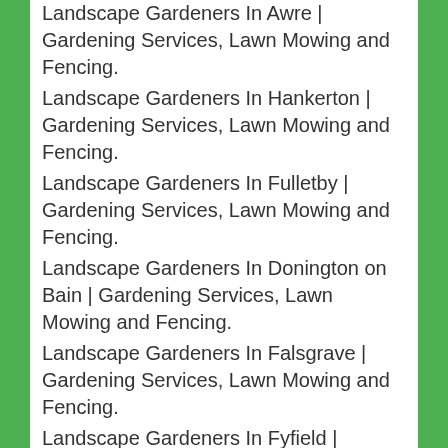Landscape Gardeners In Awre | Gardening Services, Lawn Mowing and Fencing.
Landscape Gardeners In Hankerton | Gardening Services, Lawn Mowing and Fencing.
Landscape Gardeners In Fulletby | Gardening Services, Lawn Mowing and Fencing.
Landscape Gardeners In Donington on Bain | Gardening Services, Lawn Mowing and Fencing.
Landscape Gardeners In Falsgrave | Gardening Services, Lawn Mowing and Fencing.
Landscape Gardeners In Fyfield | Gardening Services, Lawn Mowing and Fencing.
Landscape Gardeners In Aston Rowant | Gardening Services, Lawn Mowing and Fencing.
Landscape Gardeners In Ivy Hatch | Gardening Services, Lawn Mowing and Fencing.
Landscape Gardeners In Cammeringham | Gardening Services, Lawn Mowing and Fencing.